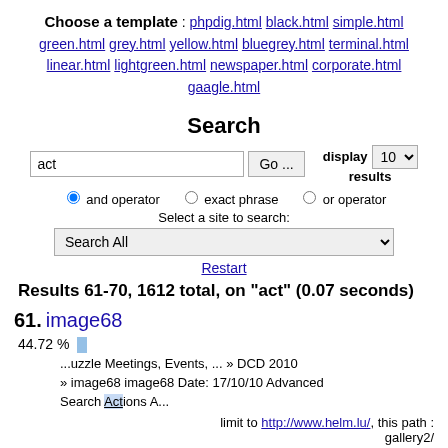Choose a template : phpdig.html black.html simple.html green.html grey.html yellow.html bluegrey.html terminal.html linear.html lightgreen.html newspaper.html corporate.html gaagle.html
Search
act [search input] Go ... display 10 results
and operator  exact phrase  or operator
Select a site to search:
Search All [dropdown]
Restart
Results 61-70, 1612 total, on "act" (0.07 seconds)
61. image68
44.72 %
...uzzle Meetings, Events, ... &raquo; DCD 2010 &raquo; image68 image68 Date: 17/10/10 Advanced Search Actions A...
limit to http://www.helm.lu/, this path : gallery2/